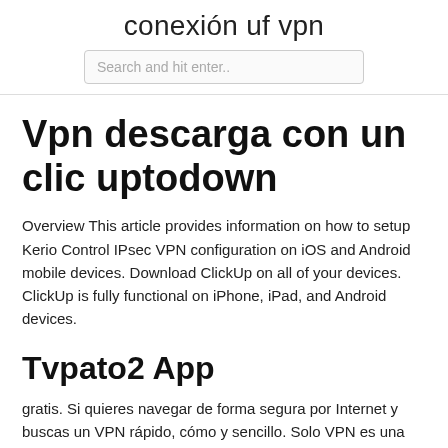conexión uf vpn
Search and hit enter..
Vpn descarga con un clic uptodown
Overview This article provides information on how to setup Kerio Control IPsec VPN configuration on iOS and Android mobile devices. Download ClickUp on all of your devices. ClickUp is fully functional on iPhone, iPad, and Android devices.
Tvpato2 App
gratis. Si quieres navegar de forma segura por Internet y buscas un VPN rápido, cómo y sencillo. Solo VPN es una